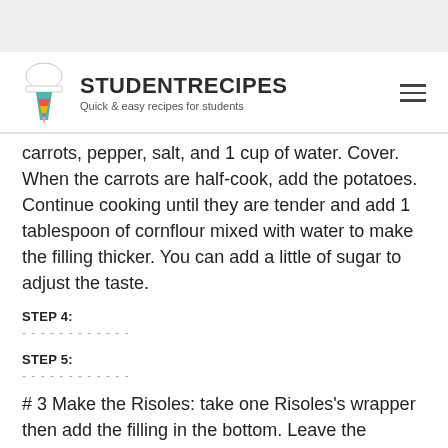STUDENTRECIPES — Quick & easy recipes for students
carrots, pepper, salt, and 1 cup of water. Cover. When the carrots are half-cook, add the potatoes. Continue cooking until they are tender and add 1 tablespoon of cornflour mixed with water to make the filling thicker. You can add a little of sugar to adjust the taste.
STEP 4:
STEP 5:
# 3 Make the Risoles: take one Risoles's wrapper then add the filling in the bottom. Leave the bottom